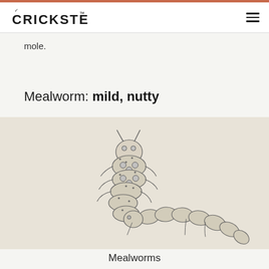CRICKSTER™
mole.
Mealworm: mild, nutty
[Figure (illustration): Detailed pencil illustration of two mealworms on a beige/cream background]
Mealworms